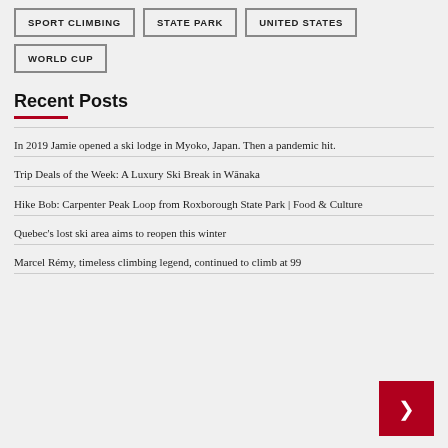SPORT CLIMBING
STATE PARK
UNITED STATES
WORLD CUP
Recent Posts
In 2019 Jamie opened a ski lodge in Myoko, Japan. Then a pandemic hit.
Trip Deals of the Week: A Luxury Ski Break in Wānaka
Hike Bob: Carpenter Peak Loop from Roxborough State Park | Food & Culture
Quebec's lost ski area aims to reopen this winter
Marcel Rémy, timeless climbing legend, continued to climb at 99